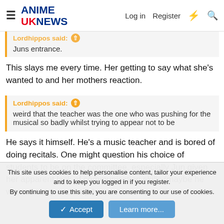ANIME UK NEWS  Log in  Register
Lordhippos said: Juns entrance.
This slays me every time. Her getting to say what she's wanted to and her mothers reaction.
Lordhippos said: weird that the teacher was the one who was pushing for the musical so badly whilst trying to appear not to be
He says it himself. He's a music teacher and is bored of doing recitals. One might question his choice of students to be on the committee, especially Jun given her apparent lack of communication skills (maybe he wanted to try and help her
This site uses cookies to help personalise content, tailor your experience and to keep you logged in if you register. By continuing to use this site, you are consenting to our use of cookies.